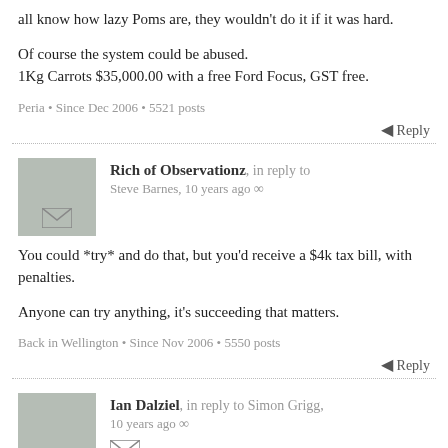all know how lazy Poms are, they wouldn't do it if it was hard.

Of course the system could be abused.
1Kg Carrots $35,000.00 with a free Ford Focus, GST free.
Peria • Since Dec 2006 • 5521 posts
Reply
Rich of Observationz, in reply to Steve Barnes, 10 years ago ∞
You could *try* and do that, but you'd receive a $4k tax bill, with penalties.

Anyone can try anything, it's succeeding that matters.
Back in Wellington • Since Nov 2006 • 5550 posts
Reply
Ian Dalziel, in reply to Simon Grigg, 10 years ago ∞